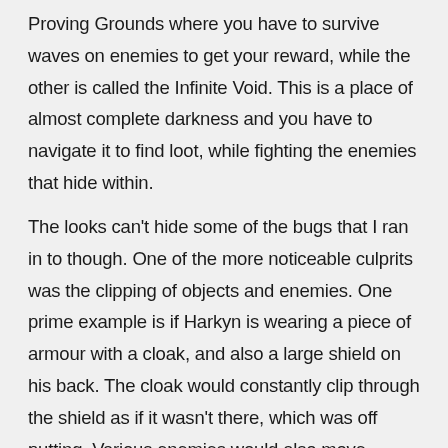Proving Grounds where you have to survive waves on enemies to get your reward, while the other is called the Infinite Void. This is a place of almost complete darkness and you have to navigate it to find loot, while fighting the enemies that hide within.
The looks can't hide some of the bugs that I ran in to though. One of the more noticeable culprits was the clipping of objects and enemies. One prime example is if Harkyn is wearing a piece of armour with a cloak, and also a large shield on his back. The cloak would constantly clip through the shield as if it wasn't there, which was off putting. Various enemies would also move through the environment, just stepping through rocks or debris as if it wasn't there. At one